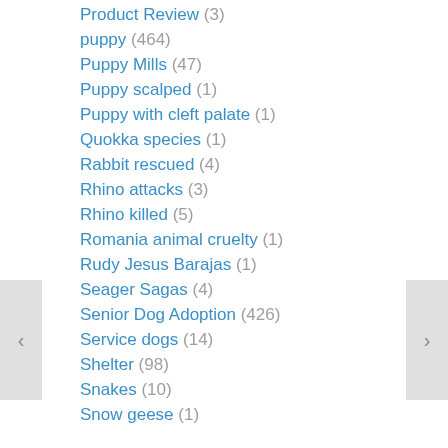Product Review (3)
puppy (464)
Puppy Mills (47)
Puppy scalped (1)
Puppy with cleft palate (1)
Quokka species (1)
Rabbit rescued (4)
Rhino attacks (3)
Rhino killed (5)
Romania animal cruelty (1)
Rudy Jesus Barajas (1)
Seager Sagas (4)
Senior Dog Adoption (426)
Service dogs (14)
Shelter (98)
Snakes (10)
Snow geese (1)